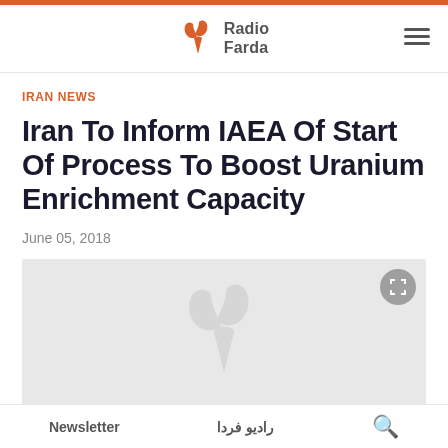Radio Farda
IRAN NEWS
Iran To Inform IAEA Of Start Of Process To Boost Uranium Enrichment Capacity
June 05, 2018
[Figure (photo): Gray placeholder image with watermark logo of Radio Farda]
Newsletter | رادیو فردا | Search